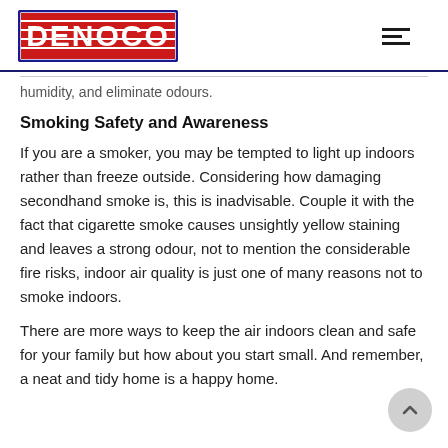DENOCO
humidity, and eliminate odours.
Smoking Safety and Awareness
If you are a smoker, you may be tempted to light up indoors rather than freeze outside. Considering how damaging secondhand smoke is, this is inadvisable. Couple it with the fact that cigarette smoke causes unsightly yellow staining and leaves a strong odour, not to mention the considerable fire risks, indoor air quality is just one of many reasons not to smoke indoors.
There are more ways to keep the air indoors clean and safe for your family but how about you start small. And remember, a neat and tidy home is a happy home.